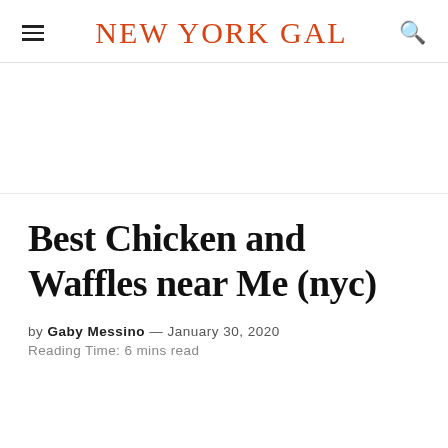NEW YORK GAL
Best Chicken and Waffles near Me (nyc)
by Gaby Messino — January 30, 2020
Reading Time: 6 mins read